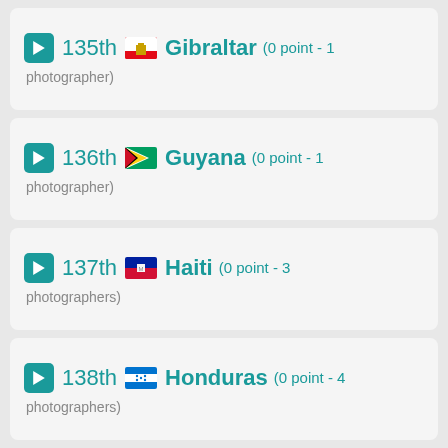135th Gibraltar (0 point - 1 photographer)
136th Guyana (0 point - 1 photographer)
137th Haiti (0 point - 3 photographers)
138th Honduras (0 point - 4 photographers)